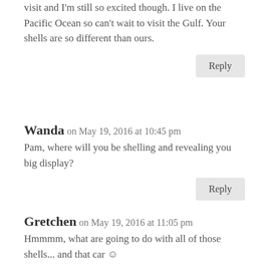visit and I'm still so excited though. I live on the Pacific Ocean so can't wait to visit the Gulf. Your shells are so different than ours.
Reply
Wanda on May 19, 2016 at 10:45 pm
Pam, where will you be shelling and revealing you big display?
Reply
Gretchen on May 19, 2016 at 11:05 pm
Hmmmm, what are going to do with all of those shells... and that car 😊
Reply